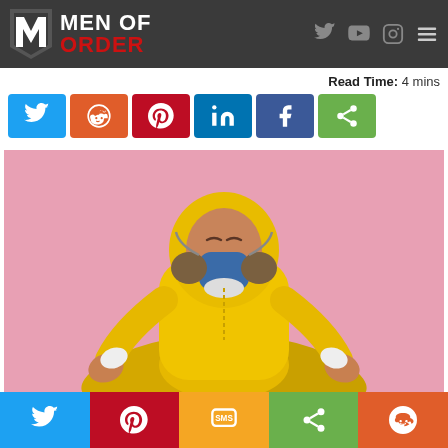MEN OF ORDER
Read Time: 4 mins
[Figure (infographic): Row of social media share buttons: Twitter (blue), Reddit (orange), Pinterest (red), LinkedIn (blue), Facebook (blue), Share (green)]
[Figure (photo): Person wearing yellow hazmat/protective suit and blue respirator gas mask, sitting cross-legged in meditation pose (lotus position) with hands in mudra gesture, against pink background]
[Figure (infographic): Bottom bar of social share buttons: Twitter (blue), Pinterest (red), SMS (orange/yellow), Share (green), Reddit (orange-red)]